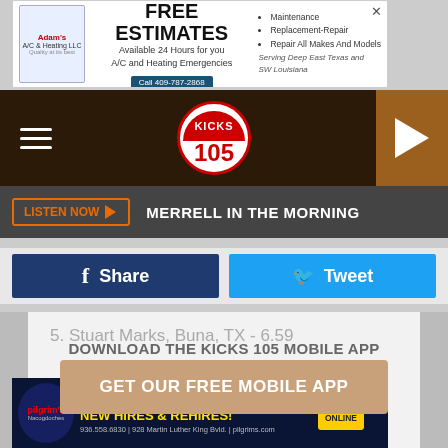[Figure (screenshot): Top advertisement banner: FREE ESTIMATES - Available 24 Hours for you A/C and Heating Emergencies, Call 409-787-2868, Maintenance, Replacement-Repair, Repair All Makes And Models, Serving Deep East Texas and SW Louisiana]
[Figure (logo): KICKS 105 radio station navigation bar with hamburger menu, KICKS 105 logo in oval, and orange play button]
LISTEN NOW  MERRELL IN THE MORNING
[Figure (screenshot): Facebook Share button (dark blue) and Twitter Tweet button (light blue)]
5. Stuart Marks, Buna, TX - 6.59
DOWNLOAD THE KICKS 105 MOBILE APP
[Figure (screenshot): GET OUR FREE MOBILE APP button in tan/brown color]
6. Darren Seeger, Hosston, LA - 6.22
Also listen on:  amazon alexa
[Figure (screenshot): Bottom advertisement: Pilgrim's Nacogdoches - $2500 SIGN ON BONUS FOR NEW HIRES & REHIRES! APPLY ONLINE. 936.558.6830 | 928 Martin Luther King Bvld. | pilgrims.com]